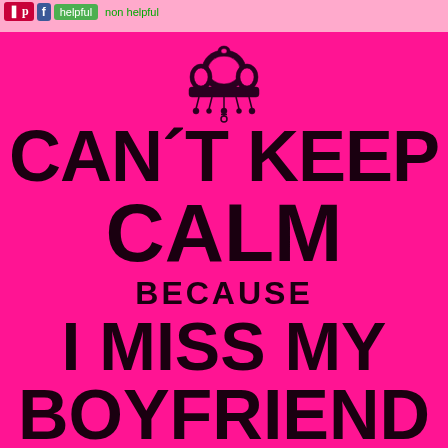[Figure (screenshot): Social sharing buttons: Pinterest (P), Facebook (f), helpful (green), non helpful buttons at top left]
[Figure (illustration): Decorative crown/jeweled headpiece illustration in dark maroon/black on hot pink background]
CAN'T KEEP CALM BECAUSE I MISS MY BOYFRIEND